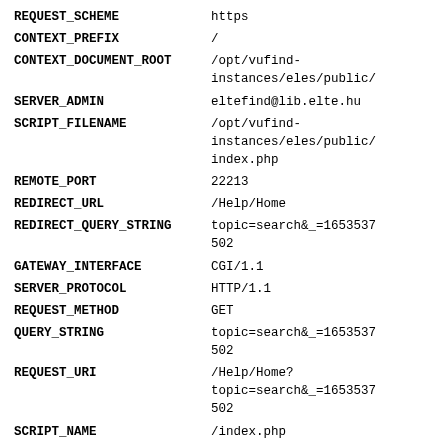| Key | Value |
| --- | --- |
| REQUEST_SCHEME | https |
| CONTEXT_PREFIX | / |
| CONTEXT_DOCUMENT_ROOT | /opt/vufind-instances/eles/public/ |
| SERVER_ADMIN | eltefind@lib.elte.hu |
| SCRIPT_FILENAME | /opt/vufind-instances/eles/public/index.php |
| REMOTE_PORT | 22213 |
| REDIRECT_URL | /Help/Home |
| REDIRECT_QUERY_STRING | topic=search&_=1653537502 |
| GATEWAY_INTERFACE | CGI/1.1 |
| SERVER_PROTOCOL | HTTP/1.1 |
| REQUEST_METHOD | GET |
| QUERY_STRING | topic=search&_=1653537502 |
| REQUEST_URI | /Help/Home?topic=search&_=1653537502 |
| SCRIPT_NAME | /index.php |
| PHP_SELF | /index.php |
| REQUEST_TIME_FLOAT | 1660867669,9335 |
| REQUEST_TIME | 1660867669 |